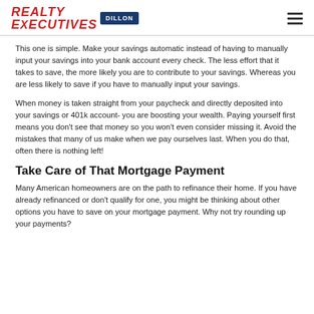REALTY EXECUTIVES DILLON
This one is simple. Make your savings automatic instead of having to manually input your savings into your bank account every check. The less effort that it takes to save, the more likely you are to contribute to your savings. Whereas you are less likely to save if you have to manually input your savings.
When money is taken straight from your paycheck and directly deposited into your savings or 401k account- you are boosting your wealth. Paying yourself first means you don't see that money so you won't even consider missing it. Avoid the mistakes that many of us make when we pay ourselves last. When you do that, often there is nothing left!
Take Care of That Mortgage Payment
Many American homeowners are on the path to refinance their home. If you have already refinanced or don't qualify for one, you might be thinking about other options you have to save on your mortgage payment. Why not try rounding up your payments?